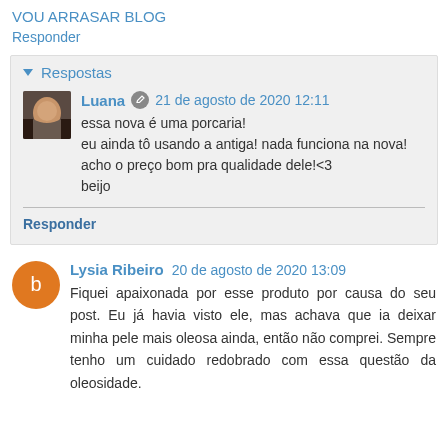VOU ARRASAR BLOG
Responder
▾ Respostas
Luana 21 de agosto de 2020 12:11
essa nova é uma porcaria!
eu ainda tô usando a antiga! nada funciona na nova!
acho o preço bom pra qualidade dele!<3
beijo
Responder
Lysia Ribeiro 20 de agosto de 2020 13:09
Fiquei apaixonada por esse produto por causa do seu post. Eu já havia visto ele, mas achava que ia deixar minha pele mais oleosa ainda, então não comprei. Sempre tenho um cuidado redobrado com essa questão da oleosidade.